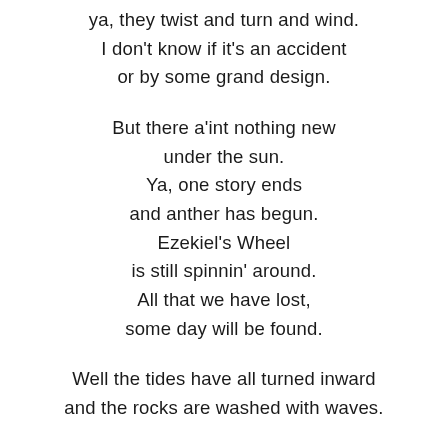ya, they twist and turn and wind.
I don't know if it's an accident
or by some grand design.

But there a'int nothing new
under the sun.
Ya, one story ends
and anther has begun.
Ezekiel's Wheel
is still spinnin' around.
All that we have lost,
some day will be found.

Well the tides have all turned inward
and the rocks are washed with waves.